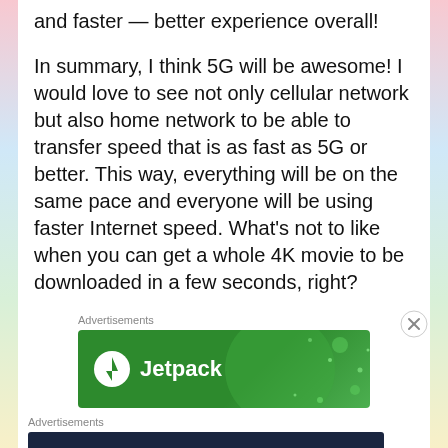and faster — better experience overall!
In summary, I think 5G will be awesome! I would love to see not only cellular network but also home network to be able to transfer speed that is as fast as 5G or better. This way, everything will be on the same pace and everyone will be using faster Internet speed. What's not to like when you can get a whole 4K movie to be downloaded in a few seconds, right?
Advertisements
[Figure (illustration): Jetpack advertisement banner with green background and Jetpack logo with lightning bolt icon]
Advertisements
[Figure (illustration): WordPress advertisement banner with dark navy background, text 'Opinions. We all have them!' and WordPress and Now logos]